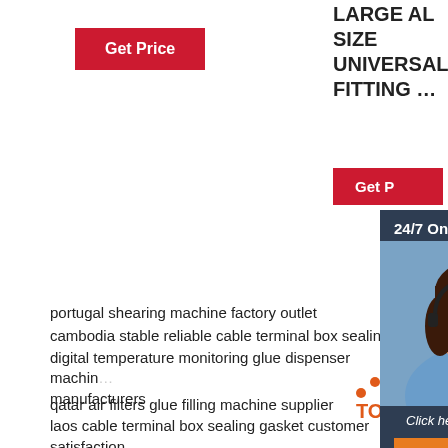[Figure (other): Red 'Get Price' button on left side]
LARGE AL SIZE UNIVERSAL FITTING ...
[Figure (other): Second red 'Get Price' button on right side]
[Figure (other): 24/7 Online chat panel with woman wearing headset, 'Click here for free chat!' text, and orange QUOTATION button]
portugal shearing machine factory outlet
cambodia stable reliable cable terminal box sealing ga...
digital temperature monitoring glue dispenser machine manufacturers
qatar air filters glue filling machine supplier
laos cable terminal box sealing gasket customer satisfaction
laos best quality foam place gasket
multiple filtration mitsubishi waterproof box pu foam gasket machine
east asia polyurethane glue recognized users
[Figure (logo): TOP logo with orange dots arranged in triangle and orange TOP text]